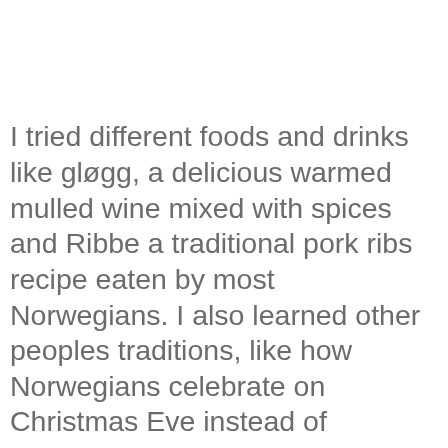I tried different foods and drinks like gløgg, a delicious warmed mulled wine mixed with spices and Ribbe a traditional pork ribs recipe eaten by most Norwegians. I also learned other peoples traditions, like how Norwegians celebrate on Christmas Eve instead of